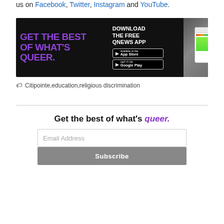us on Facebook, Twitter, Instagram and YouTube.
[Figure (infographic): Advertisement banner for the QNews App with dark/black background. Left side shows large purple bold text 'GET THE BEST OF WHAT'S QUEER.' Middle section shows white text 'DOWNLOAD THE FREE QNEWS APP' with App Store and Google Play buttons. Right side shows a smartphone mockup.]
🏷 Citipointe,education,religious discrimination
Get the best of what's queer.
Email Address
Subscribe